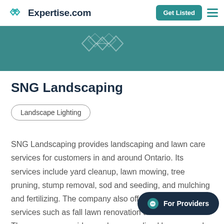Expertise.com | Get Listed
[Figure (photo): Teal hero banner strip with decorative snowflake/diamond icons in lighter teal]
SNG Landscaping
Landscape Lighting
SNG Landscaping provides landscaping and lawn care services for customers in and around Ontario. Its services include yard cleanup, lawn mowing, tree pruning, stump removal, sod and seeding, and mulching and fertilizing. The company also offers seasonal services such as fall lawn renovation and snow removal. The company provides each personalized lawn care plan to fit the